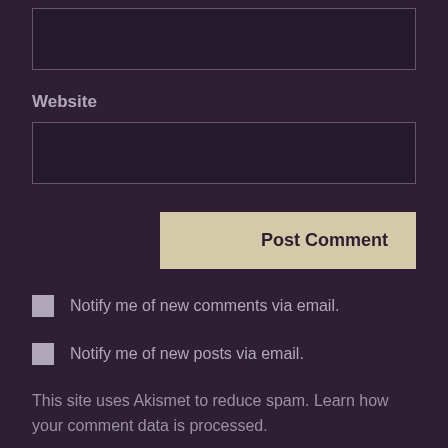[Figure (screenshot): Text input field (empty), dark background]
Website
[Figure (screenshot): Text input field for website URL (empty), dark background]
Post Comment
Notify me of new comments via email.
Notify me of new posts via email.
This site uses Akismet to reduce spam. Learn how your comment data is processed.